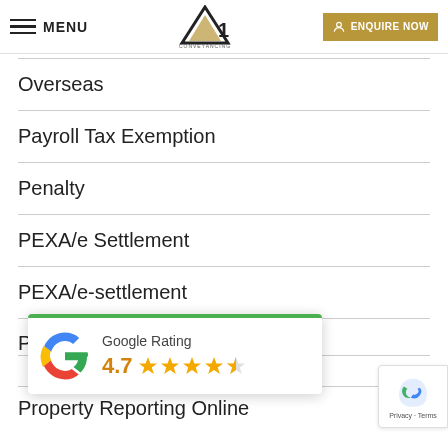MENU | A1 Conveyancing | ENQUIRE NOW
Overseas
Payroll Tax Exemption
Penalty
PEXA/e Settlement
PEXA/e-settlement
Preparation
[Figure (other): Google Rating popup showing 4.7 stars with Google G logo and green top border]
Property Reporting Online